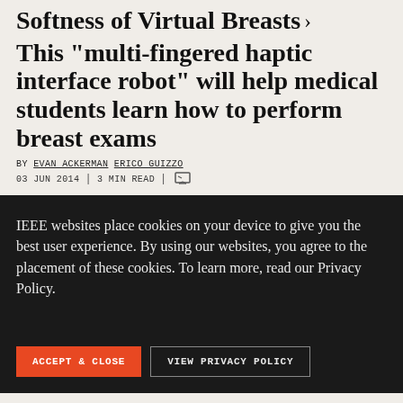Softness of Virtual Breasts › This "multi-fingered haptic interface robot" will help medical students learn how to perform breast exams
BY EVAN ACKERMAN ERICO GUIZZO
03 JUN 2014 | 3 MIN READ
IEEE websites place cookies on your device to give you the best user experience. By using our websites, you agree to the placement of these cookies. To learn more, read our Privacy Policy.
ACCEPT & CLOSE | VIEW PRIVACY POLICY